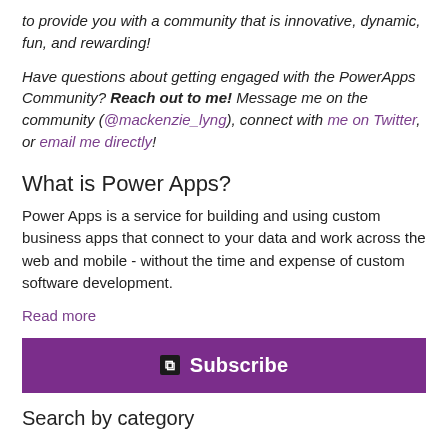to provide you with a community that is innovative, dynamic, fun, and rewarding!
Have questions about getting engaged with the PowerApps Community? Reach out to me! Message me on the community (@mackenzie_lyng), connect with me on Twitter, or email me directly!
What is Power Apps?
Power Apps is a service for building and using custom business apps that connect to your data and work across the web and mobile - without the time and expense of custom software development.
Read more
[Figure (other): Purple Subscribe button with RSS icon]
Search by category